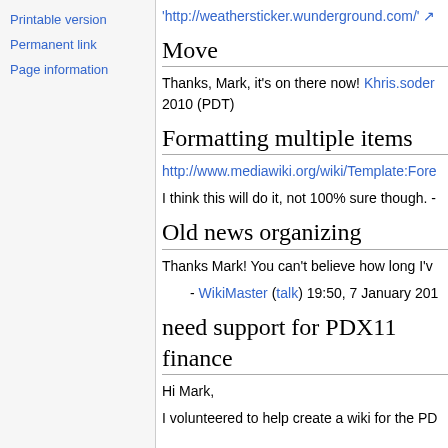Printable version
Permanent link
Page information
'http://weathersticker.wunderground.com/'
Move
Thanks, Mark, it's on there now! Khris.soder... 2010 (PDT)
Formatting multiple items
http://www.mediawiki.org/wiki/Template:Fore
I think this will do it, not 100% sure though. -
Old news organizing
Thanks Mark! You can't believe how long I'v
- WikiMaster (talk) 19:50, 7 January 201
need support for PDX11 finance
Hi Mark,
I volunteered to help create a wiki for the PD